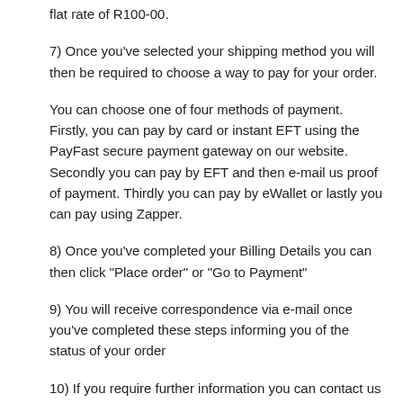flat rate of R100-00.
7) Once you've selected your shipping method you will then be required to choose a way to pay for your order.
You can choose one of four methods of payment.  Firstly, you can pay by card or instant EFT using the PayFast secure payment gateway on our website. Secondly you can pay by EFT and then e-mail us proof of payment. Thirdly you can pay by eWallet or lastly you can pay using Zapper.
8) Once you've completed your Billing Details you can then click "Place order" or "Go to Payment"
9) You will receive correspondence via e-mail once you've completed these steps informing you of the status of your order
10) If you require further information you can contact us on 071 376 8448 or e-mail giftxpress@thecre8ivedge.co.za